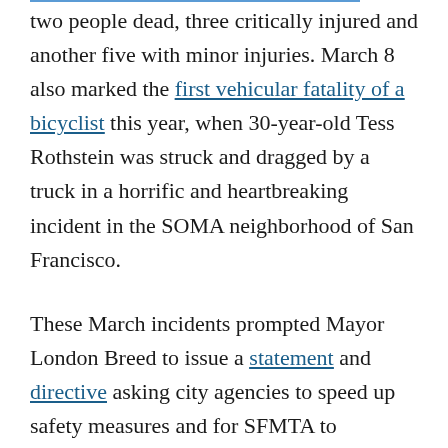two people dead, three critically injured and another five with minor injuries. March 8 also marked the first vehicular fatality of a bicyclist this year, when 30-year-old Tess Rothstein was struck and dragged by a truck in a horrific and heartbreaking incident in the SOMA neighborhood of San Francisco.
These March incidents prompted Mayor London Breed to issue a statement and directive asking city agencies to speed up safety measures and for SFMTA to implement quick safety improvements, but there does not seem to be a halt in fatalities occurring in the city.